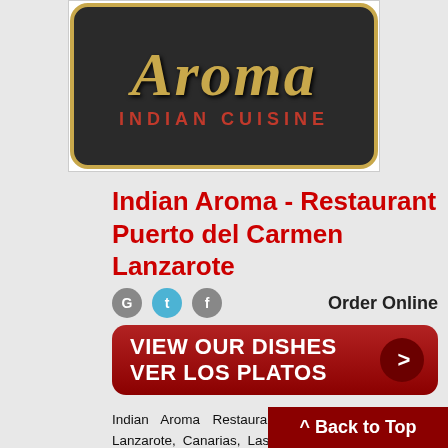[Figure (logo): Aroma Indian Cuisine restaurant logo — gold italic script 'Aroma' text and 'INDIAN CUISINE' in red on dark background with gold border, rounded corners]
Indian Aroma - Restaurant Puerto del Carmen Lanzarote
Order Online
[Figure (infographic): Red CTA button with white text: VIEW OUR DISHES VER LOS PLATOS with arrow]
Indian Aroma Restaurant Puerto del Carmen - Lanzarote, Canarias, Las PalmasIndian Restaurants Puerto del Carmen | Asian Restaurants Lanzarote | Balti Cuisine Not Yet TakeawayLanzarote's Mem Suggest Takeaway / Register for Free
^ Back to Top